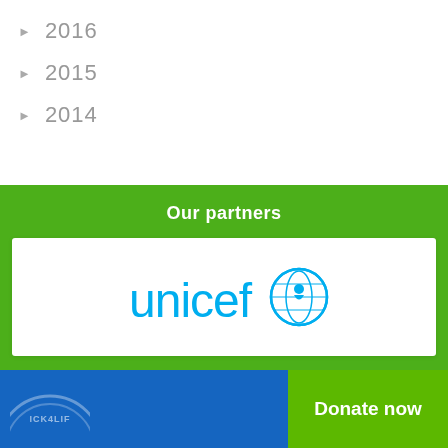2016
2015
2014
Our partners
[Figure (logo): UNICEF logo in blue, with text 'unicef' and globe/child emblem]
[Figure (logo): Kick4Life circular logo, partial view at bottom left]
Donate now